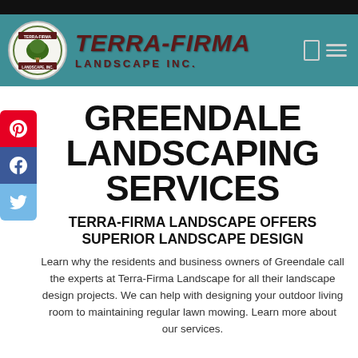[Figure (logo): Terra-Firma Landscape Inc. logo with circular emblem and bold italic brand name on teal header bar]
GREENDALE LANDSCAPING SERVICES
TERRA-FIRMA LANDSCAPE OFFERS SUPERIOR LANDSCAPE DESIGN
Learn why the residents and business owners of Greendale call the experts at Terra-Firma Landscape for all their landscape design projects. We can help with designing your outdoor living room to maintaining regular lawn mowing. Learn more about our services.